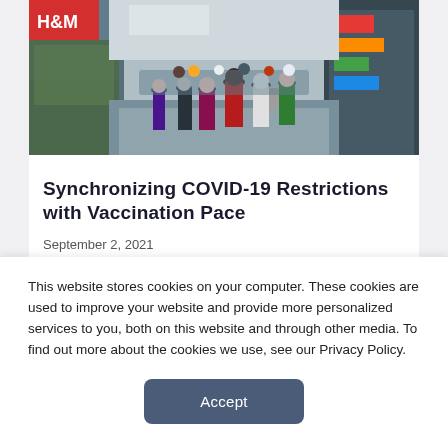[Figure (photo): Crowded urban shopping street with pedestrians walking; stores including H&M visible; colorful signs on both sides of the street.]
Synchronizing COVID-19 Restrictions with Vaccination Pace
September 2, 2021
[Figure (other): Grey placeholder box (partially visible content block)]
This website stores cookies on your computer. These cookies are used to improve your website and provide more personalized services to you, both on this website and through other media. To find out more about the cookies we use, see our Privacy Policy.